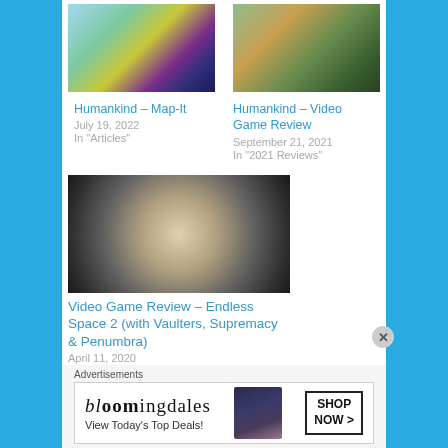[Figure (screenshot): Humankind map-it screenshot showing colorful world map]
Humankind – Map-It
July 19, 2022
In "Articles"
[Figure (screenshot): Humankind video game review screenshot showing overhead game map]
Humankind – Video Game Review
September 21, 2021
In "2021 Reviews"
[Figure (screenshot): Endless Space 2 character art showing armored figure in sci-fi setting]
Video Game Review – Endless Space 2 (with Vaulters, Supremacy & Penumbra)
April 11, 2020
In "2020 Reviews"
Advertisements
[Figure (screenshot): Bloomingdales advertisement banner: bloomingdales View Today's Top Deals! SHOP NOW >]